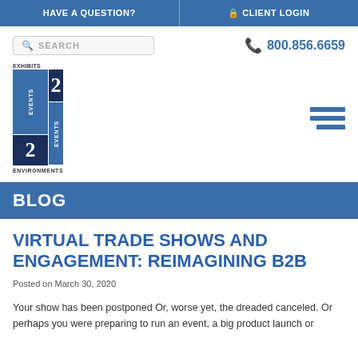HAVE A QUESTION?  |  CLIENT LOGIN
SEARCH  |  800.856.6659
[Figure (logo): Exhibits 2020 Events Environments logo — blue grid with 2, circle, 2, circle, EVENTS vertical text]
BLOG
VIRTUAL TRADE SHOWS AND ENGAGEMENT: REIMAGINING B2B
Posted on March 30, 2020
Your show has been postponed Or, worse yet, the dreaded canceled. Or perhaps you were preparing to run an event, a big product launch or